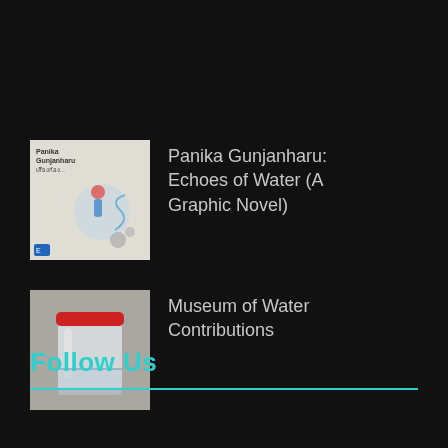[Figure (illustration): Thumbnail of book cover for Panika Gunjanharu: Echoes of Water graphic novel]
Panika Gunjanharu: Echoes of Water (A Graphic Novel)
[Figure (photo): Photo of a glass jar with red lid, partially filled with water]
Museum of Water Contributions
Follow Us